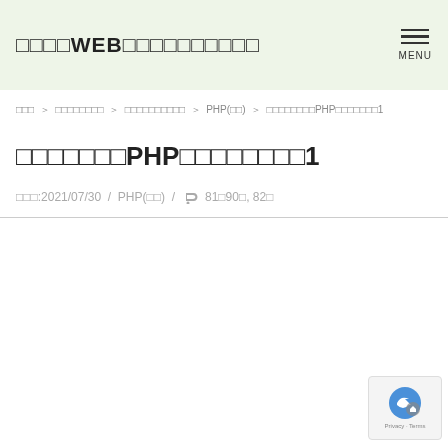□□□□WEB□□□□□□□□□□
□□□ ＞ □□□□□□□□ ＞ □□□□□□□□□□ ＞ PHP(□□) ＞ □□□□□□□□PHPの□□□□□□□1
□□□□□□□PHP□□□□□□□□1
□□□:2021/07/30 / PHP(□□) / 🏷 81□90□, 82□